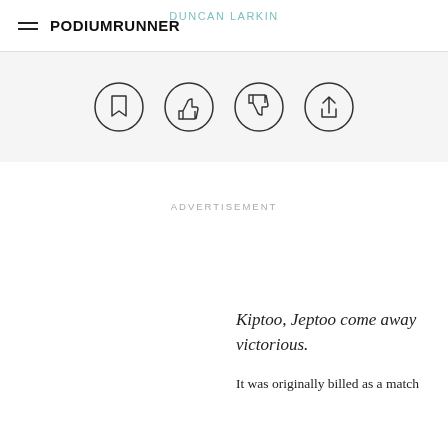PodiumRunner
DUNCAN LARKIN
[Figure (infographic): Four circular icon buttons: bookmark, thumbs up, thumbs down, share]
ADVERTISEMENT
Kiptoo, Jeptoo come away victorious.
It was originally billed as a match